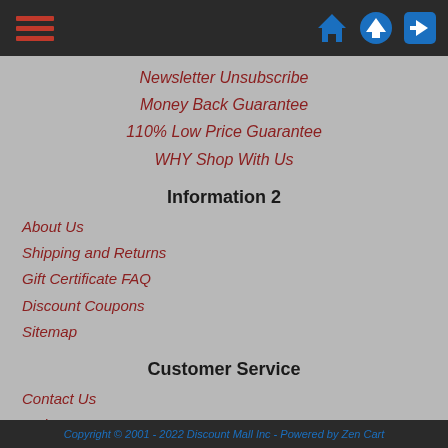[Figure (screenshot): Dark header bar with hamburger menu icon (red lines) on the left and three blue icons (home, up arrow, login arrow) on the right]
Newsletter Unsubscribe
Money Back Guarantee
110% Low Price Guarantee
WHY Shop With Us
Information 2
About Us
Shipping and Returns
Gift Certificate FAQ
Discount Coupons
Sitemap
Customer Service
Contact Us
Order Staus
My Account
Conditions of Use
Copyright © 2001 - 2022 Discount Mall Inc - Powered by Zen Cart